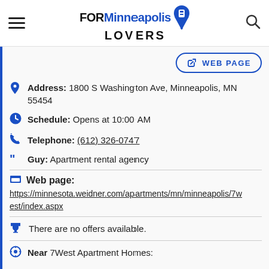FOR Minneapolis LOVERS
WEB PAGE
Address: 1800 S Washington Ave, Minneapolis, MN 55454
Schedule: Opens at 10:00 AM
Telephone: (612) 326-0747
Guy: Apartment rental agency
Web page: https://minnesota.weidner.com/apartments/mn/minneapolis/7west/index.aspx
There are no offers available.
Near 7West Apartment Homes: